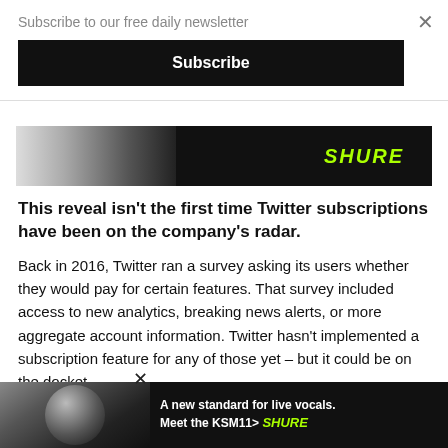Subscribe to our free daily newsletter
Subscribe
[Figure (photo): Shure microphone advertisement banner showing a microphone and the Shure logo in green]
This reveal isn't the first time Twitter subscriptions have been on the company's radar.
Back in 2016, Twitter ran a survey asking its users whether they would pay for certain features. That survey included access to new analytics, breaking news alerts, or more aggregate account information. Twitter hasn't implemented a subscription feature for any of those yet – but it could be on the docket.
Twitter may also be targeting Patreon with its subscriptions to creators. Subscriptions to individual Twitter creators could reduce [text continues below ad]. For now, Tw[itter text continues]
[Figure (photo): Shure KSM11 microphone advertisement at bottom of page with text: A new standard for live vocals. Meet the KSM11> SHURE]